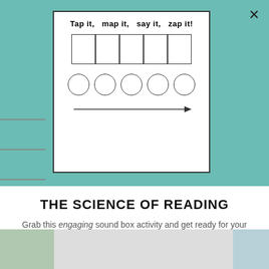[Figure (illustration): A phonics worksheet card showing the title 'Tap it, map it, say it, zap it!' with a grid of 5 boxes, 5 circles, and a left-to-right arrow beneath, on a white card with teal background]
THE SCIENCE OF READING
Grab this engaging sound box activity and get ready for your students to rock their segmenting, blending, and spelling skills.